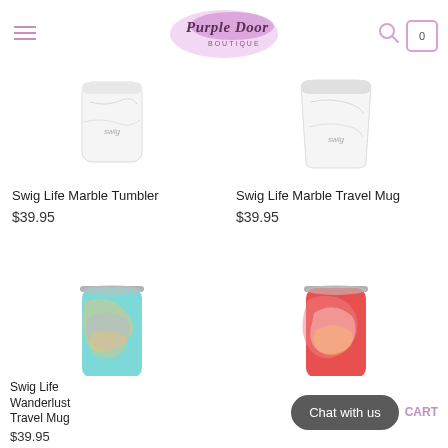Purple Door Boutique
[Figure (photo): Swig Life Marble Tumbler - white marble cylindrical tumbler with swig logo]
Swig Life Marble Tumbler
$39.95
[Figure (photo): Swig Life Marble Travel Mug - white marble travel mug with swig logo]
Swig Life Marble Travel Mug
$39.95
[Figure (photo): Swig Life Wanderlust Travel Mug - teal and gold swirl pattern tumbler with lid]
Swig Life Wanderlust Travel Mug
$39.95
[Figure (photo): Pink and coral swirl pattern Swig tumbler with lid]
Chat with us
CART